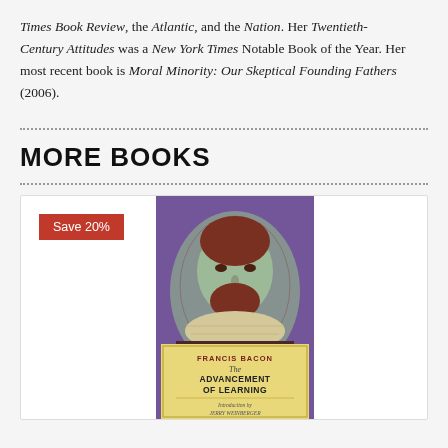Times Book Review, the Atlantic, and the Nation. Her Twentieth Century Attitudes was a New York Times Notable Book of the Year. Her most recent book is Moral Minority: Our Skeptical Founding Fathers (2006).
MORE BOOKS
[Figure (illustration): Book cover of 'The Advancement of Learning' by Francis Bacon with introduction by Jerry Weinberger. Shows a portrait of Francis Bacon against a purple decorative background. A red badge reads 'Save 20%'.]